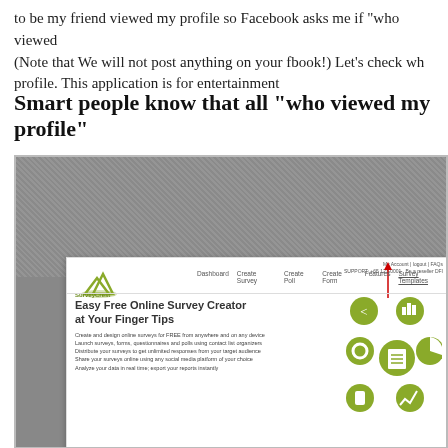to be my friend viewed my profile so Facebook asks me if "who viewed (Note that We will not post anything on your fbook!) Let's check whe profile. This application is for entertainment
Smart people know that all "who viewed my profile"
[Figure (screenshot): Screenshot of SurveyCrest website showing logo, navigation bar with Dashboard, Create Survey, Create Poll, Create Form, Features, Survey Templates, and main content 'Easy Free Online Survey Creator at Your Finger Tips' with feature bullets and circular icon graphics. A red arrow points to the Survey Templates menu item.]